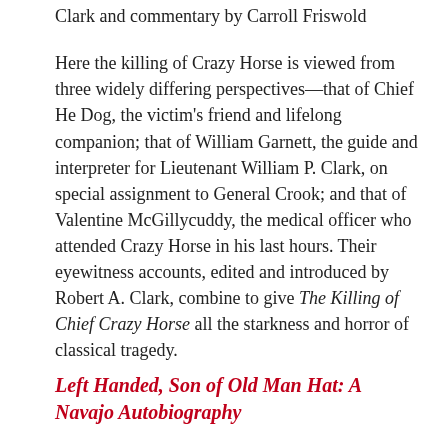Clark and commentary by Carroll Friswold
Here the killing of Crazy Horse is viewed from three widely differing perspectives—that of Chief He Dog, the victim's friend and lifelong companion; that of William Garnett, the guide and interpreter for Lieutenant William P. Clark, on special assignment to General Crook; and that of Valentine McGillycuddy, the medical officer who attended Crazy Horse in his last hours. Their eyewitness accounts, edited and introduced by Robert A. Clark, combine to give The Killing of Chief Crazy Horse all the starkness and horror of classical tragedy.
Left Handed, Son of Old Man Hat: A Navajo Autobiography